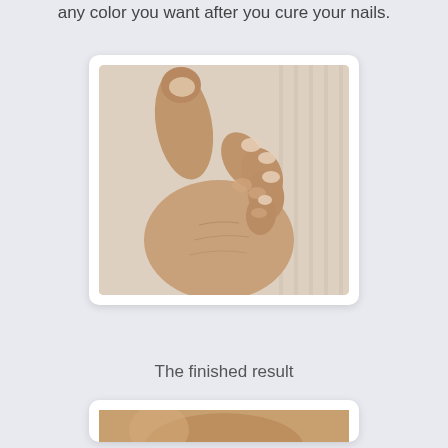any color you want after you cure your nails.
[Figure (photo): A close-up photograph of a hand with a fist-like pose showing trimmed, natural (clear/unpainted) fingernails against a light background.]
The finished result
[Figure (photo): Partial view of another photo showing a hand, cropped at the bottom of the page.]